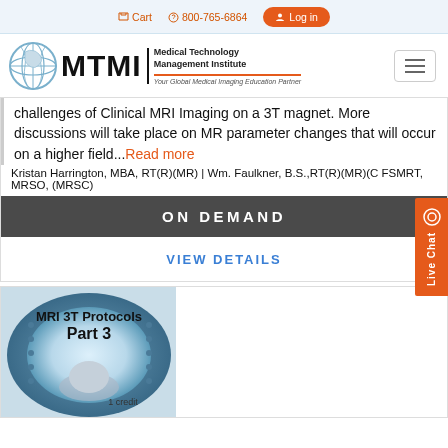Cart  800-765-6864  Log in
[Figure (logo): MTMI Medical Technology Management Institute logo with globe icon. Tagline: Your Global Medical Imaging Education Partner]
challenges of Clinical MRI Imaging on a 3T magnet. More discussions will take place on MR parameter changes that will occur on a higher field...Read more
Kristan Harrington, MBA, RT(R)(MR) | Wm. Faulkner, B.S.,RT(R)(MR)(C FSMRT, MRSO, (MRSC)
ON DEMAND
VIEW DETAILS
[Figure (photo): MRI 3T Protocols Part 3 course card image showing patient in MRI scanner bore. Text on image: MRI 3T Protocols Part 3, 1 credit]